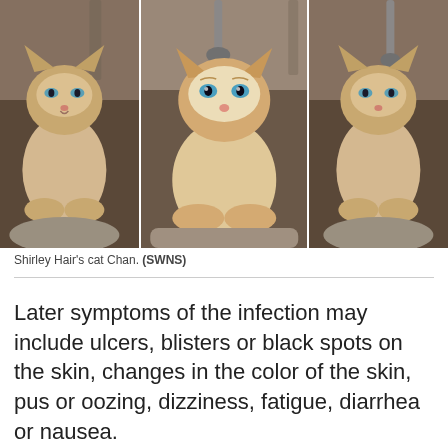[Figure (photo): Three-panel photograph of Shirley Hair's cat Chan, a Siamese-type cat with blue eyes and cream/orange fur, shown from slightly different angles across the three panels]
Shirley Hair's cat Chan. (SWNS)
Later symptoms of the infection may include ulcers, blisters or black spots on the skin, changes in the color of the skin, pus or oozing, dizziness, fatigue, diarrhea or nausea.